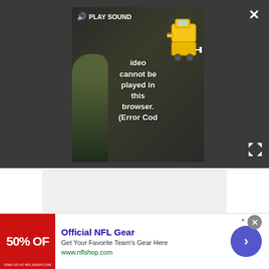[Figure (screenshot): A video player showing an error message: 'Video cannot be played in this browser. (Error Cod...' with a PLAY SOUND button and speaker icon at top left. A yellow robot/truck emoji icon visible at top right of video. The video appears to show people in the background. Dark gray overlay surrounds the video player. A white X close button is at top right of the overlay, and an expand/fullscreen icon at right side.]
[Figure (screenshot): Light gray content area below the video overlay.]
[Figure (screenshot): Advertisement banner at bottom: Red square image with '50% OFF' text. Ad text reads 'Official NFL Gear' in blue, 'Get Your Favorite Team's Gear Here' in dark, 'www.nflshop.com' in green. A circular close button (X) at top right of ad area. A blue circular arrow/chevron button on the right side of the ad.]